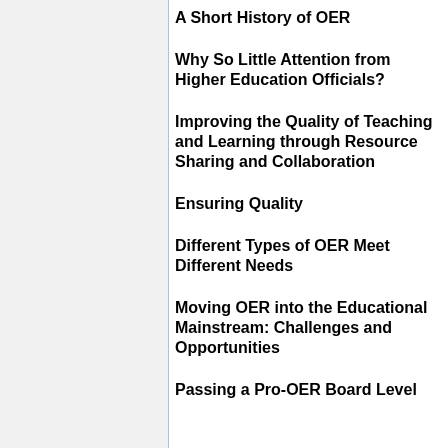A Short History of OER
Why So Little Attention from Higher Education Officials?
Improving the Quality of Teaching and Learning through Resource Sharing and Collaboration
Ensuring Quality
Different Types of OER Meet Different Needs
Moving OER into the Educational Mainstream: Challenges and Opportunities
Passing a Pro-OER Board Level...